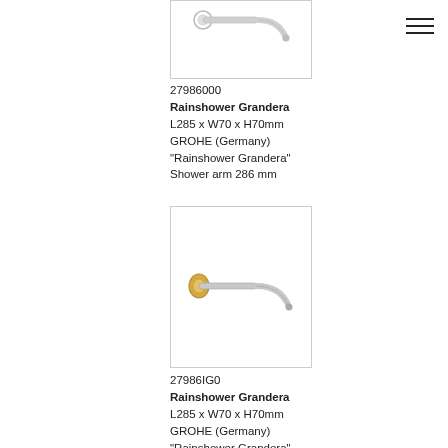[Figure (photo): Shower arm product photo - chrome curved shower arm, top portion visible, product 27986000]
27986000
Rainshower Grandera
L285 x W70 x H70mm
GROHE (Germany)
"Rainshower Grandera"
Shower arm 286 mm
[Figure (photo): Shower arm product photo - gold/chrome curved shower arm, product 27986IG0]
27986IG0
Rainshower Grandera
L285 x W70 x H70mm
GROHE (Germany)
"Rainshower Grandera"
Shower arm 286 mm